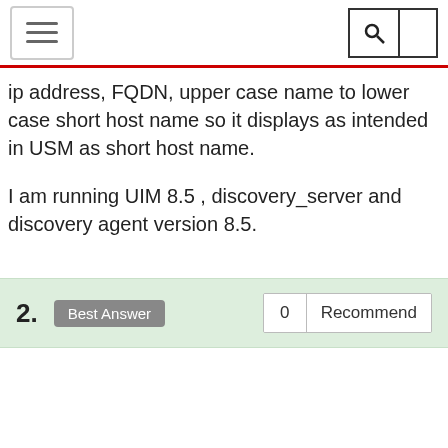[Navigation header with hamburger menu and search icon]
ip address, FQDN, upper case name to lower case short host name so it displays as intended in USM as short host name.
I am running UIM 8.5 , discovery_server and discovery agent version 8.5.
2. Best Answer   0  Recommend
[Figure (photo): Default user avatar (silhouette of a person) with a Broadcom Employee badge ribbon below it]